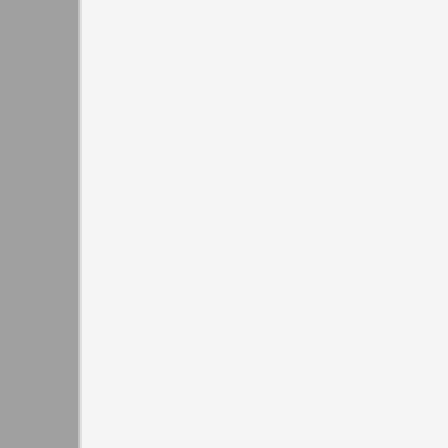T8655
US B
T8655
US B
T8656
US B
T8656
US B
T8656
US B
T8656
US B
T8656
US B